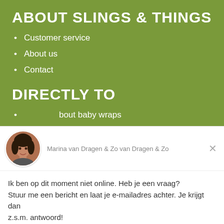ABOUT SLINGS & THINGS
Customer service
About us
Contact
DIRECTLY TO
About baby wraps
Marina van Dragen & Zo van Dragen & Zo
Ik ben op dit moment niet online. Heb je een vraag? Stuur me een bericht en laat je e-mailadres achter. Je krijgt dan z.s.m. antwoord!
Antwoorden aan Marina van Dragen & Zo